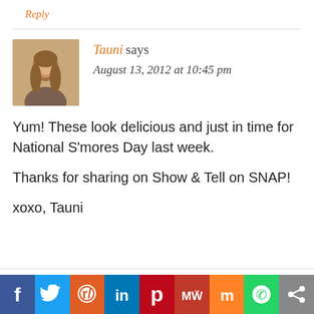Reply
Tauni says
August 13, 2012 at 10:45 pm
Yum! These look delicious and just in time for National S’mores Day last week.

Thanks for sharing on Show & Tell on SNAP!

xoxo, Tauni
[Figure (infographic): Social media sharing bar with icons: Facebook, Twitter, Reddit, LinkedIn, Pinterest, MeWe, Mix, WhatsApp, Share]